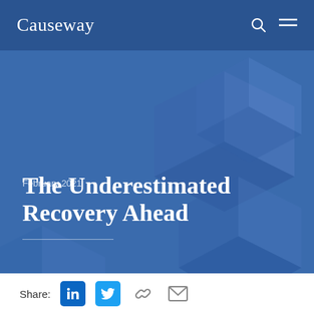Causeway
February 2021
The Underestimated Recovery Ahead
Share: